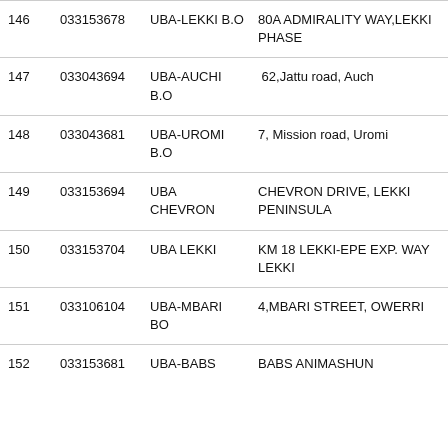| # | Code | Branch | Address |
| --- | --- | --- | --- |
| 146 | 033153678 | UBA-LEKKI B.O | 80A ADMIRALITY WAY,LEKKI PHASE |
| 147 | 033043694 | UBA-AUCHI B.O | 62,Jattu road, Auch |
| 148 | 033043681 | UBA-UROMI B.O | 7, Mission road, Uromi |
| 149 | 033153694 | UBA CHEVRON | CHEVRON DRIVE, LEKKI PENINSULA |
| 150 | 033153704 | UBA LEKKI | KM 18 LEKKI-EPE EXP. WAY LEKKI |
| 151 | 033106104 | UBA-MBARI BO | 4,MBARI STREET, OWERRI |
| 152 | 033153681 | UBA-BABS | BABS ANIMASHUN |